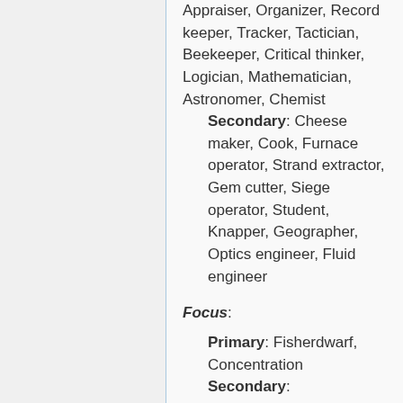Appraiser, Organizer, Record keeper, Tracker, Tactician, Beekeeper, Critical thinker, Logician, Mathematician, Astronomer, Chemist Secondary: Cheese maker, Cook, Furnace operator, Strand extractor, Gem cutter, Siege operator, Student, Knapper, Geographer, Optics engineer, Fluid engineer
Focus:
Primary: Fisherdwarf, Concentration Secondary: Crossbowman, Siege operator, Bowman, Blowgunner, Druid, Ambusher, Surgeon, Bone doctor, Suturer, Record keeper, Student,